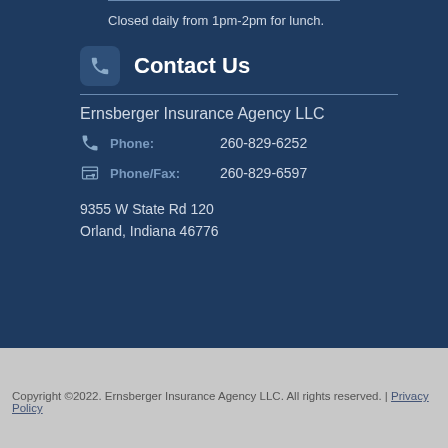Closed daily from 1pm-2pm for lunch.
Contact Us
Ernsberger Insurance Agency LLC
Phone: 260-829-6252
Phone/Fax: 260-829-6597
9355 W State Rd 120
Orland, Indiana 46776
Copyright ©2022. Ernsberger Insurance Agency LLC. All rights reserved. | Privacy Policy